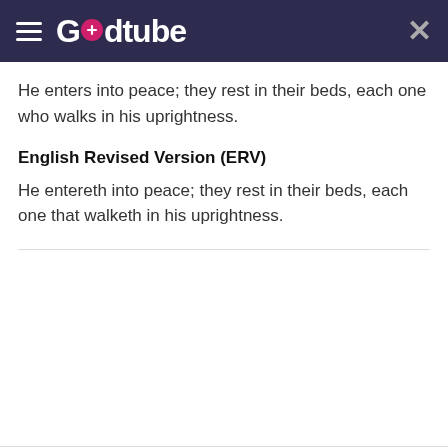Godtube
He enters into peace; they rest in their beds, each one who walks in his uprightness.
English Revised Version (ERV)
He entereth into peace; they rest in their beds, each one that walketh in his uprightness.